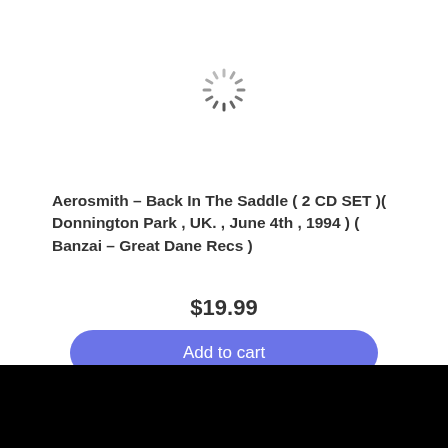[Figure (other): Loading spinner icon (circular dashed spinner graphic)]
Aerosmith – Back In The Saddle ( 2 CD SET )( Donnington Park , UK. , June 4th , 1994 ) ( Banzai – Great Dane Recs )
$19.99
Add to cart